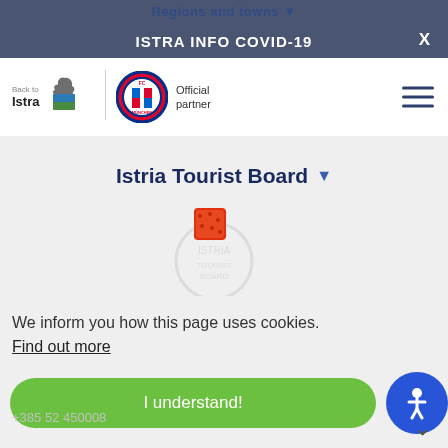Regions and towns | ISTRA INFO COVID-19 | X
[Figure (logo): Back to Istra logo with ibex/goat icon and Istra text]
[Figure (logo): FC Bayern München official partner logo]
Istria Tourist Board
[Figure (logo): Faded Istria Tourist Board logo with red/orange cookie icon overlay]
We inform you how this page uses cookies. Find out more
I understand!
+385 52 450008